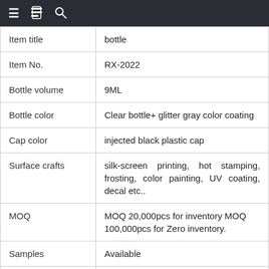≡  [icon]  🔍
| Item title | bottle |
| Item No. | RX-2022 |
| Bottle volume | 9ML |
| Bottle color | Clear bottle+ glitter gray color coating |
| Cap color | injected black plastic cap |
| Surface crafts | silk-screen printing, hot stamping, frosting, color painting, UV coating, decal etc.. |
| MOQ | MOQ 20,000pcs for inventory MOQ 100,000pcs for Zero inventory. |
| Samples | Available |
| Samples | 3-7 days |